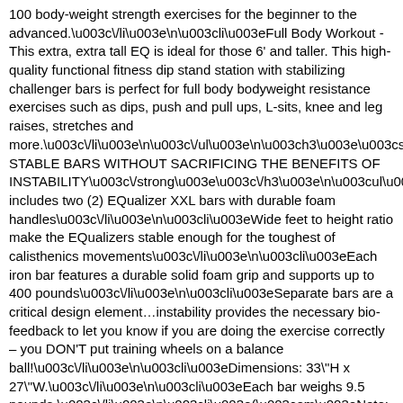100 body-weight strength exercises for the beginner to the advanced.\u003c\/li\u003e\n\u003cli\u003eFull Body Workout - This extra, extra tall EQ is ideal for those 6' and taller. This high-quality functional fitness dip stand station with stabilizing challenger bars is perfect for full body bodyweight resistance exercises such as dips, push and pull ups, L-sits, knee and leg raises, stretches and more.\u003c\/li\u003e\n\u003c\/ul\u003e\n\u003ch3\u003e\u003cstrong\u003eMOST STABLE BARS WITHOUT SACRIFICING THE BENEFITS OF INSTABILITY\u003c\/strong\u003e\u003c\/h3\u003e\n\u003cul\u003e includes two (2) EQualizer XXL bars with durable foam handles\u003c\/li\u003e\n\u003cli\u003eWide feet to height ratio make the EQualizers stable enough for the toughest of calisthenics movements\u003c\/li\u003e\n\u003cli\u003eEach iron bar features a durable solid foam grip and supports up to 400 pounds\u003c\/li\u003e\n\u003cli\u003eSeparate bars are a critical design element…instability provides the necessary bio-feedback to let you know if you are doing the exercise correctly – you DON'T put training wheels on a balance ball!\u003c\/li\u003e\n\u003cli\u003eDimensions:  33\"H x 27\"W.\u003c\/li\u003e\n\u003cli\u003eEach bar weighs 9.5 pounds.\u003c\/li\u003e\n\u003cli\u003e(\u003cem\u003eNote: Only available for delivery within continental North America\u003c\/em\u003e)\u003c\/li\u003e\n\u003c\/ul\u003e\n\u003c\/li\u003e\n\u003c\/ul\u003e